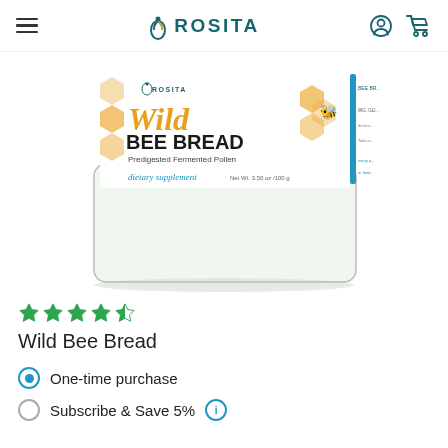ROSITA
[Figure (photo): Glass jar of Rosita Wild Bee Bread — Predigested Fermented Pollen dietary supplement, with honeycomb-pattern label featuring the Rosita logo, 'Wild Bee Bread' text, and 'dietary supplement' in teal. Net Wt. 3.50 oz / 100g.]
★★★★☆
Wild Bee Bread
One-time purchase
Subscribe & Save 5%